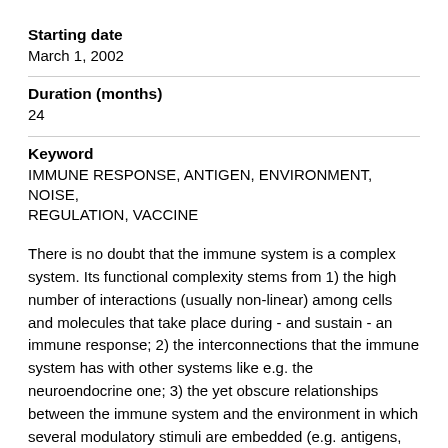Starting date
March 1, 2002
Duration (months)
24
Keyword
IMMUNE RESPONSE, ANTIGEN, ENVIRONMENT, NOISE, REGULATION, VACCINE
There is no doubt that the immune system is a complex system. Its functional complexity stems from 1) the high number of interactions (usually non-linear) among cells and molecules that take place during - and sustain - an immune response; 2) the interconnections that the immune system has with other systems like e.g. the neuroendocrine one; 3) the yet obscure relationships between the immune system and the environment in which several modulatory stimuli are embedded (e.g. antigens, molecules of various origin, physical stimuli, stress stimuli). The various signals that can interfere with the immune response define the environment into which the immune system operates: this environment is the source of the constraints for the